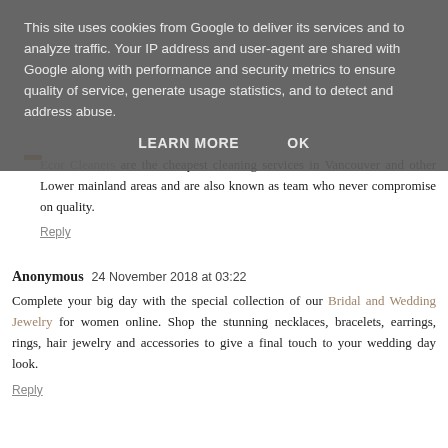This site uses cookies from Google to deliver its services and to analyze traffic. Your IP address and user-agent are shared with Google along with performance and security metrics to ensure quality of service, generate usage statistics, and to detect and address abuse.
LEARN MORE   OK
Ecor Cleaners are the cheapest cleaning services in Vancouver and other Lower mainland areas and are also known as team who never compromise on quality.
Reply
Anonymous  24 November 2018 at 03:22
Complete your big day with the special collection of our Bridal and Wedding Jewelry for women online. Shop the stunning necklaces, bracelets, earrings, rings, hair jewelry and accessories to give a final touch to your wedding day look.
Reply